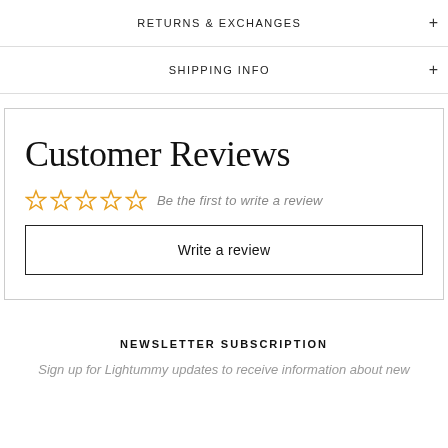RETURNS & EXCHANGES
SHIPPING INFO
Customer Reviews
Be the first to write a review
Write a review
NEWSLETTER SUBSCRIPTION
Sign up for Lightummy updates to receive information about new